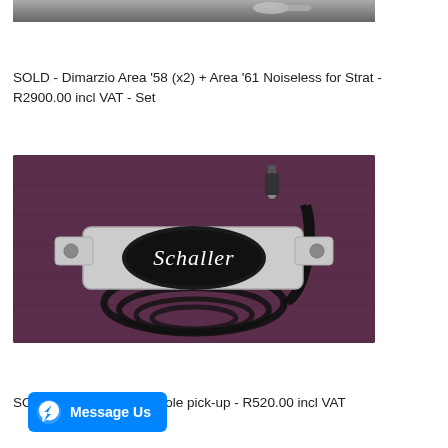[Figure (photo): Partial top image of guitar pickups (cropped at top of page)]
SOLD - Dimarzio Area '58 (x2) + Area '61 Noiseless for Strat - R2900.00 incl VAT - Set
[Figure (photo): Photo of a Schaller sound-hole pickup with chrome housing, black oval logo, and coiled black cable with 1/4 inch jack plug, on purple/maroon fabric background]
SOLD - Schaller Sound-hole pick-up - R520.00 incl VAT